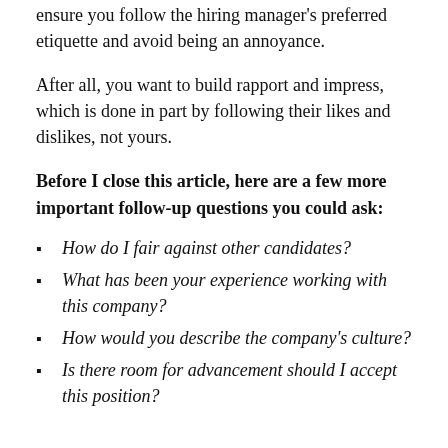ensure you follow the hiring manager's preferred etiquette and avoid being an annoyance.
After all, you want to build rapport and impress, which is done in part by following their likes and dislikes, not yours.
Before I close this article, here are a few more important follow-up questions you could ask:
How do I fair against other candidates?
What has been your experience working with this company?
How would you describe the company's culture?
Is there room for advancement should I accept this position?